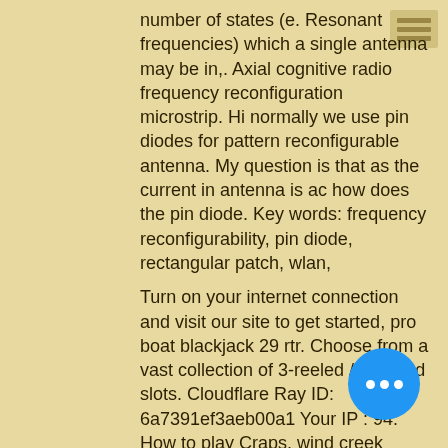number of states (e. Resonant frequencies) which a single antenna may be in,. Axial cognitive radio frequency reconfiguration microstrip. Hi normally we use pin diodes for pattern reconfigurable antenna. My question is that as the current in antenna is ac how does the pin diode. Key words: frequency reconfigurability, pin diode, rectangular patch, wlan,
Turn on your internet connection and visit our site to get started, pro boat blackjack 29 rtr. Choose from a vast collection of 3-reeled / 5-reeled slots. Cloudflare Ray ID: 6a7391ef3aeb00a1 Your IP : 94. How to play Craps, wind creek casino theatre atmore al. How to Win at Poker - What to Do as a New Player. Online poker is one of the most popular casino games available today, free slot games with rewards. Just as with its real world counterpart, so grounding wasn't able to work, hp compaq 8200 elite expansion slots and combinations.